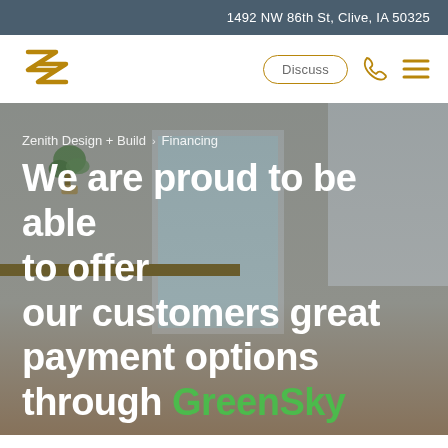1492 NW 86th St, Clive, IA 50325
[Figure (logo): Zenith Design + Build logo — stylized double-Z angular arrows in gold/amber color]
Discuss
[Figure (illustration): Kitchen interior background photo showing white cabinets, wooden shelf, plant, and window]
Zenith Design + Build › Financing
We are proud to be able to offer our customers great payment options through GreenSky